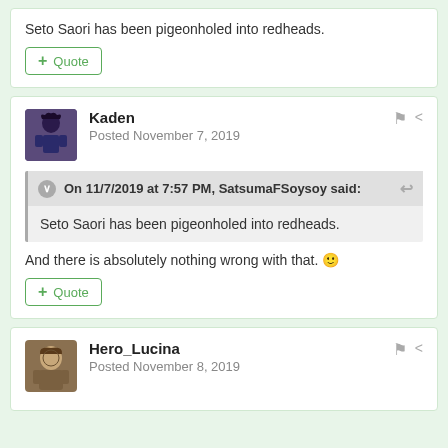Seto Saori has been pigeonholed into redheads.
+ Quote
Kaden
Posted November 7, 2019
On 11/7/2019 at 7:57 PM, SatsumaFSoysoy said:
Seto Saori has been pigeonholed into redheads.
And there is absolutely nothing wrong with that. 😊
+ Quote
Hero_Lucina
Posted November 8, 2019